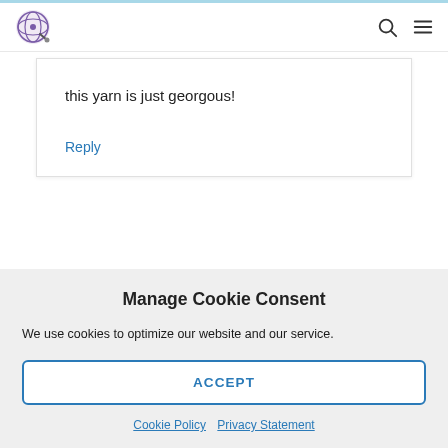Website header with logo, search icon, and menu icon
this yarn is just georgous!
Reply
Manage Cookie Consent
We use cookies to optimize our website and our service.
ACCEPT
Cookie Policy  Privacy Statement